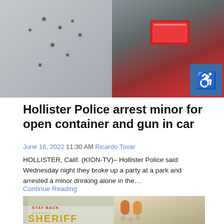[Figure (photo): Two-panel photo: left panel shows a gray surface with bullet holes; right panel shows a red car tail light with damage.]
Hollister Police arrest minor for open container and gun in car
June 16, 2022 11:30 AM Ricardo Tovar
HOLLISTER, Calif. (KION-TV)– Hollister Police said Wednesday night they broke up a party at a park and arrested a minor drinking alone in the…
Continue Reading
[Figure (photo): Two-panel photo: left panel shows a sheriff's vehicle with 'STAY BACK' and 'SHERIFF' text; right panel shows prescription pill bottles and drug paraphernalia.]